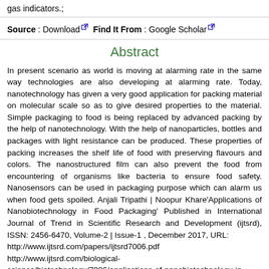gas indicators.;
Source : Download  Find It From : Google Scholar
Abstract
In present scenario as world is moving at alarming rate in the same way technologies are also developing at alarming rate. Today, nanotechnology has given a very good application for packing material on molecular scale so as to give desired properties to the material. Simple packaging to food is being replaced by advanced packing by the help of nanotechnology. With the help of nanoparticles, bottles and packages with light resistance can be produced. These properties of packing increases the shelf life of food with preserving flavours and colors. The nanostructured film can also prevent the food from encountering of organisms like bacteria to ensure food safety. Nanosensors can be used in packaging purpose which can alarm us when food gets spoiled. Anjali Tripathi | Noopur Khare'Applications of Nanobiotechnology in Food Packaging' Published in International Journal of Trend in Scientific Research and Development (ijtsrd), ISSN: 2456-6470, Volume-2 | Issue-1, December 2017, URL: http://www.ijtsrd.com/papers/ijtsrd7006.pdf http://www.ijtsrd.com/biological-science/biotechnology/7006/applications-of-nanobiotechnology-in-food-packaging/anjali-tripathi